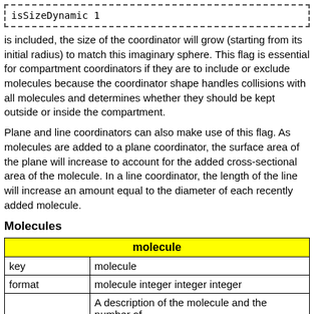isSizeDynamic 1
is included, the size of the coordinator will grow (starting from its initial radius) to match this imaginary sphere. This flag is essential for compartment coordinators if they are to include or exclude molecules because the coordinator shape handles collisions with all molecules and determines whether they should be kept outside or inside the compartment.
Plane and line coordinators can also make use of this flag. As molecules are added to a plane coordinator, the surface area of the plane will increase to account for the added cross-sectional area of the molecule. In a line coordinator, the length of the line will increase an amount equal to the diameter of each recently added molecule.
Molecules
| molecule | key | format |
| --- | --- | --- |
| molecule |
| key | molecule |
| format | molecule integer integer integer |